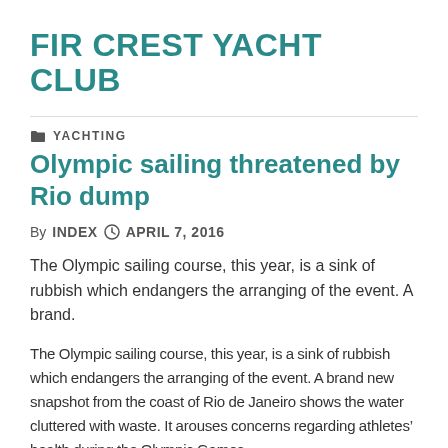FIR CREST YACHT CLUB
YACHTING
Olympic sailing threatened by Rio dump
By INDEX  APRIL 7, 2016
The Olympic sailing course, this year, is a sink of rubbish which endangers the arranging of the event. A brand.
The Olympic sailing course, this year, is a sink of rubbish which endangers the arranging of the event. A brand new snapshot from the coast of Rio de Janeiro shows the water cluttered with waste. It arouses concerns regarding athletes’ health during the Olympic Games.
Two months back, a disposed lounge was detected among